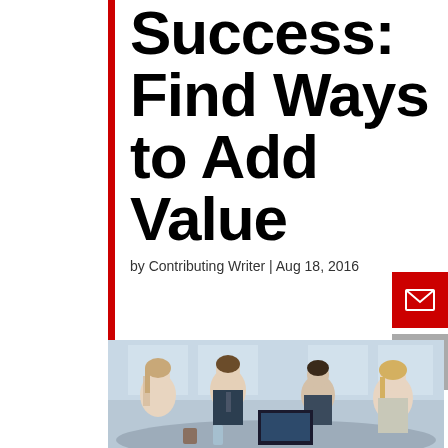Success: Find Ways to Add Value
by Contributing Writer | Aug 18, 2016
[Figure (photo): Business meeting photo showing four people (two women and two men) sitting around a table in a modern office, smiling and engaged in conversation, with a laptop on the table.]